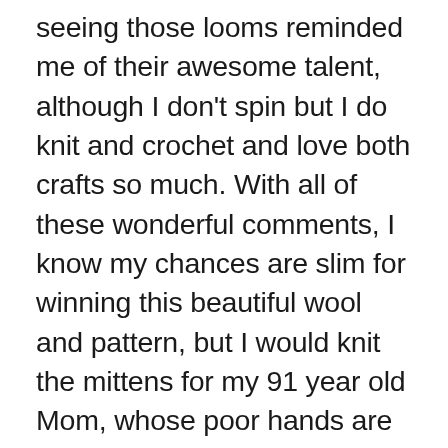seeing those looms reminded me of their awesome talent, although I don't spin but I do knit and crochet and love both crafts so much. With all of these wonderful comments, I know my chances are slim for winning this beautiful wool and pattern, but I would knit the mittens for my 91 year old Mom, whose poor hands are always cold. Thank you so much for sharing those wonderful pictures and for giving me so many reasons to visit New England. 😊